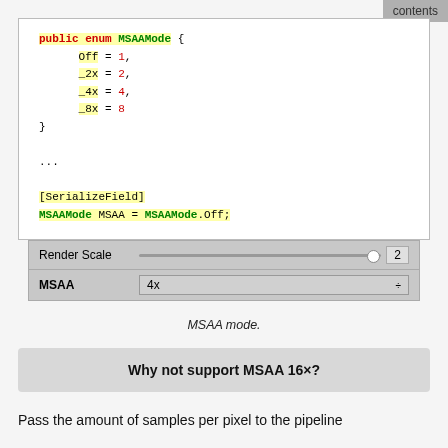contents
[Figure (screenshot): Code block showing C# enum MSAAMode with values Off=1, _2x=2, _4x=4, _8x=8, followed by [SerializeField] and MSAAMode MSAA = MSAAMode.Off; with yellow highlights on key identifiers]
[Figure (screenshot): Unity inspector-style UI showing Render Scale slider set to 2 and MSAA dropdown set to 4x]
MSAA mode.
Why not support MSAA 16×?
Pass the amount of samples per pixel to the pipeline